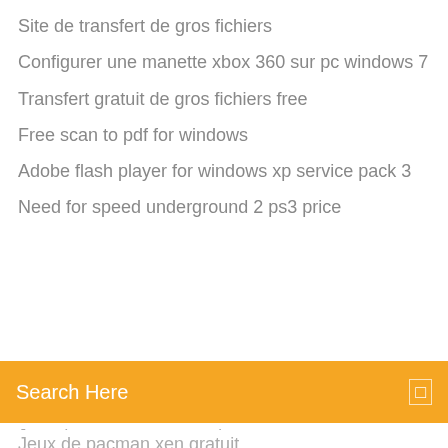Site de transfert de gros fichiers
Configurer une manette xbox 360 sur pc windows 7
Transfert gratuit de gros fichiers free
Free scan to pdf for windows
Adobe flash player for windows xp service pack 3
Need for speed underground 2 ps3 price
[Figure (screenshot): Orange search bar with text 'Search Here' and a small icon on the right]
Jeux de pacman xen gratuit
Annuaire a qui est ce numero gratuit
Acrobat reader windows xp 64 bit
Candy crush saga android apk
Solution assassin creed syndicate ps4
Telecharger dragon ball z budokai tenkaichi 3 pc rar
Télécharger microsoft office pro plus 2019 iso
Créer calendrier annuel en ligne gratuit
Need for speed rivals ps3 code triche
Javascript télécharger for windows 7 32 bit free
Sonnerie retour vers le futur zedge